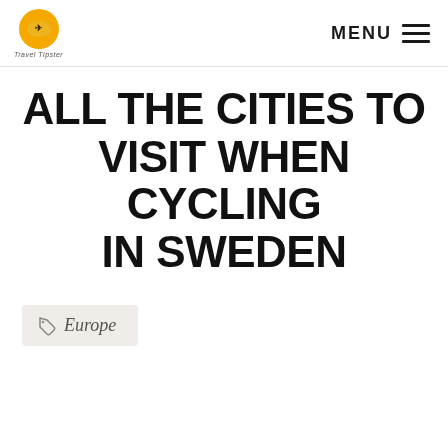Travel Tipster — MENU
ALL THE CITIES TO VISIT WHEN CYCLING IN SWEDEN
Europe